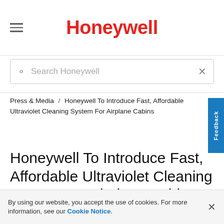Honeywell
Search Honeywell
Press & Media / Honeywell To Introduce Fast, Affordable Ultraviolet Cleaning System For Airplane Cabins
Honeywell To Introduce Fast, Affordable Ultraviolet Cleaning System For Airplane Cabins
By using our website, you accept the use of cookies. For more information, see our Cookie Notice.